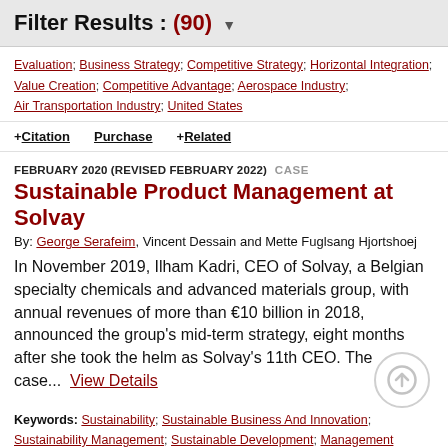Filter Results : (90)
Evaluation; Business Strategy; Competitive Strategy; Horizontal Integration; Value Creation; Competitive Advantage; Aerospace Industry; Air Transportation Industry; United States
+ Citation   Purchase   + Related
FEBRUARY 2020 (REVISED FEBRUARY 2022)  CASE
Sustainable Product Management at Solvay
By: George Serafeim, Vincent Dessain and Mette Fuglsang Hjortshoej
In November 2019, Ilham Kadri, CEO of Solvay, a Belgian specialty chemicals and advanced materials group, with annual revenues of more than €10 billion in 2018, announced the group's mid-term strategy, eight months after she took the helm as Solvay's 11th CEO. The case...  View Details
Keywords: Sustainability; Sustainable Business And Innovation; Sustainability Management; Sustainable Development; Management